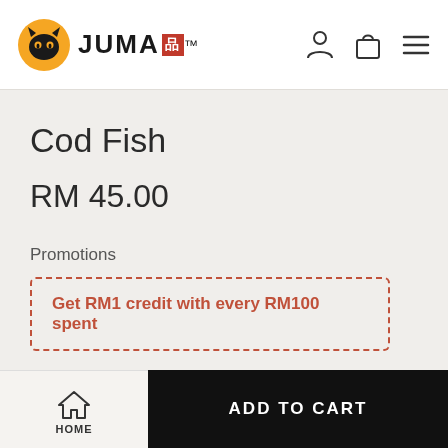[Figure (logo): JUMA brand logo with orange circle containing black cat face icon, followed by JUMA text with red kanji character]
Cod Fish
RM 45.00
Promotions
Get RM1 credit with every RM100 spent
Quantity  1
HOME  ADD TO CART